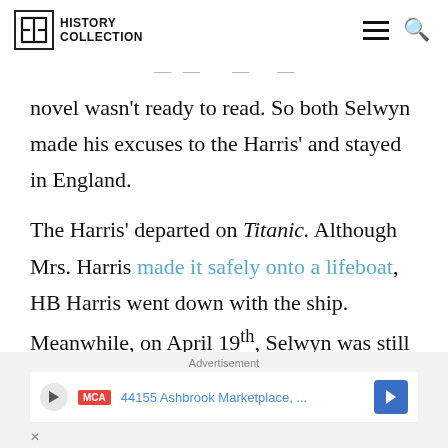History Collection
novel wasn't ready to read. So both Selwyn made his excuses to the Harris' and stayed in England.
The Harris' departed on Titanic. Although Mrs. Harris made it safely onto a lifeboat, HB Harris went down with the ship. Meanwhile, on April 19th, Selwyn was still safe in England and had finally read The Reagent- the novel that saved his
Advertisement
44155 Ashbrook Marketplace, ...